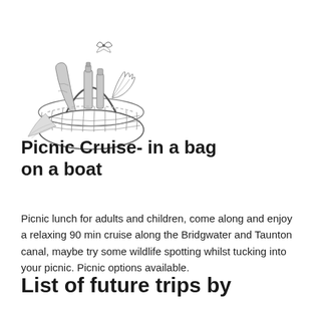[Figure (illustration): Pencil sketch illustration of a wicker picnic basket filled with bread, bottles, and other picnic items, with a butterfly above it.]
Picnic Cruise- in a bag on a boat
Picnic lunch for adults and children, come along and enjoy a relaxing 90 min cruise along the Bridgwater and Taunton canal, maybe try some wildlife spotting whilst tucking into your picnic. Picnic options available.
List of future trips by